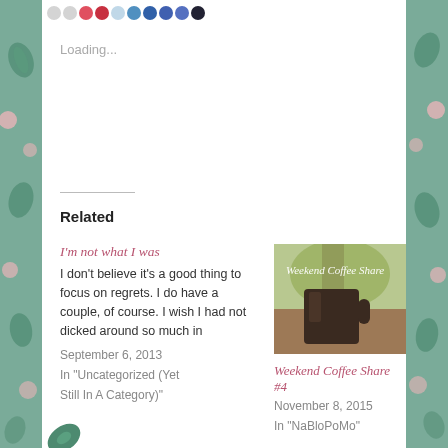Loading...
Related
I'm not what I was
I don't believe it's a good thing to focus on regrets. I do have a couple, of course. I wish I had not dicked around so much in
September 6, 2013
In "Uncategorized (Yet Still In A Category)"
[Figure (photo): Weekend Coffee Share blog post thumbnail showing a dark coffee mug outdoors with text 'Weekend Coffee Share' overlaid in script font]
Weekend Coffee Share #4
November 8, 2015
In "NaBloPoMo"